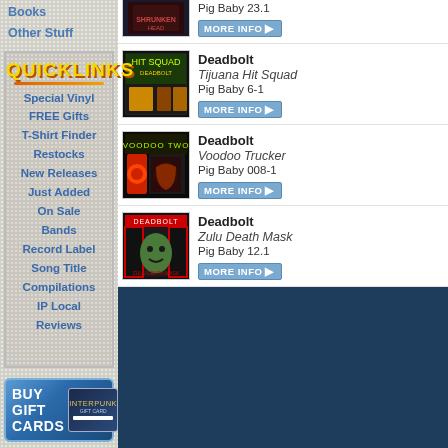Books
Other Stuff
QUICKLINKS
Special Vinyl
FREE Gifts
T-Shirt Finder
Restocks
New Releases
Just Added
On Sale
Bands
Record Label
Song Title
Compilations
IP Local
Reviews
[Figure (other): Buy Gift Cards banner with Interpunk logo]
Pig Baby 23.1 MORE INFO
Deadbolt Tijuana Hit Squad Pig Baby 6-1 MORE INFO
Deadbolt Voodoo Trucker Pig Baby 008-1 MORE INFO
Deadbolt Zulu Death Mask Pig Baby 12.1 MORE INFO